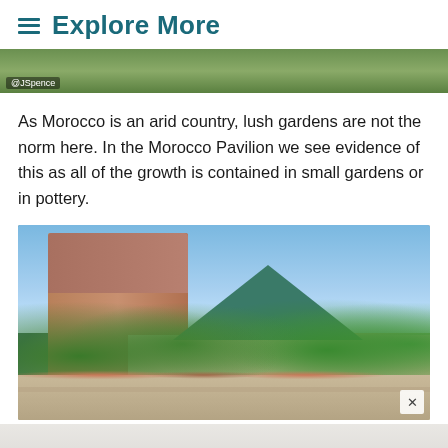Explore More
[Figure (photo): Top partial image showing lush green foliage with a photo credit watermark reading @JSpence]
As Morocco is an arid country, lush gardens are not the norm here. In the Morocco Pavilion we see evidence of this as all of the growth is contained in small gardens or in pottery.
[Figure (photo): Photograph of the Morocco Pavilion at EPCOT showing a tall brick tower, green tiled pyramid roof, arched colonnade, trees, and outdoor dining area with umbrellas]